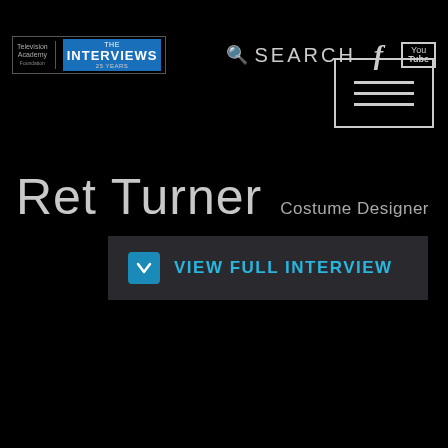Television Academy | THE INTERVIEWS 25 YEARS
SEARCH
[Figure (screenshot): Hamburger menu icon with three horizontal lines in a rectangle border]
Ret Turner
Costume Designer
VIEW FULL INTERVIEW